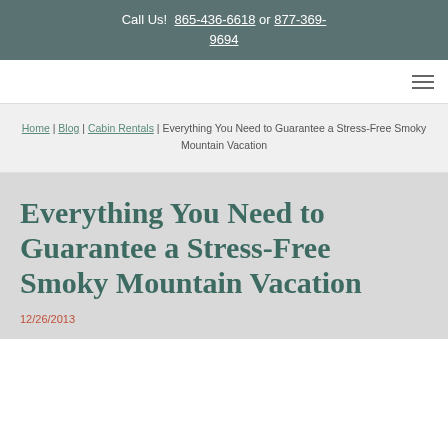Call Us! 865-436-6618 or 877-369-9694
Home | Blog | Cabin Rentals | Everything You Need to Guarantee a Stress-Free Smoky Mountain Vacation
Everything You Need to Guarantee a Stress-Free Smoky Mountain Vacation
12/26/2013